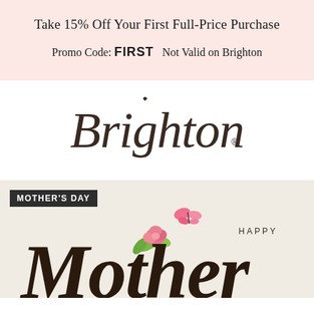Take 15% Off Your First Full-Price Purchase
Promo Code: FIRST  Not Valid on Brighton
[Figure (logo): Brighton script logo with registered trademark symbol]
[Figure (illustration): Mother's Day promotional banner with pink roses, butterflies, green leaves, and large script 'Mother' text with the word HAPPY. Label reads MOTHER'S DAY on dark background.]